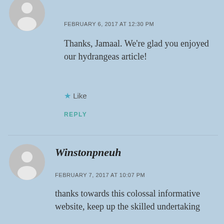[Figure (illustration): Partial gray avatar circle at top left, cropped at top]
FEBRUARY 6, 2017 AT 12:30 PM
Thanks, Jamaal. We're glad you enjoyed our hydrangeas article!
★ Like
REPLY
[Figure (illustration): Gray avatar circle with silhouette person icon]
Winstonpneuh
FEBRUARY 7, 2017 AT 10:07 PM
thanks towards this colossal informative website, keep up the skilled undertaking